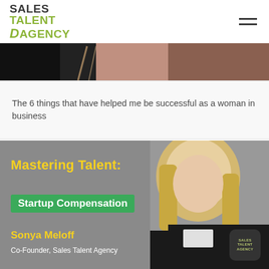Sales Talent Agency
[Figure (photo): Top banner image — partial photo showing dark background with copper/rose tones, appears to be a person in warm-colored clothing]
The 6 things that have helped me be successful as a woman in business
[Figure (photo): Promotional image on grey background: blonde woman in black blazer smiling, with text overlay 'Mastering Talent: Startup Compensation' and 'Sonya Meloff, Co-Founder, Sales Talent Agency'. Sales Talent Agency logo watermark in bottom right corner.]